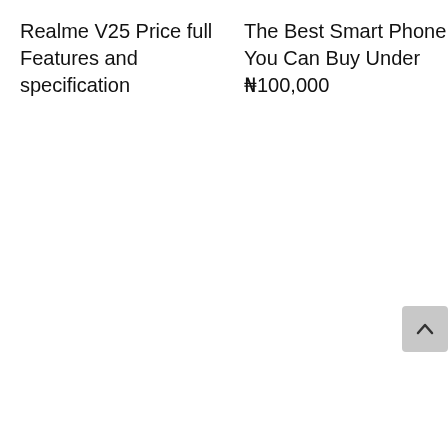Realme V25 Price full Features and specification
The Best Smart Phone You Can Buy Under ₦100,000
[Figure (other): Scroll-to-top button with upward chevron arrow, light gray rounded rectangle background]